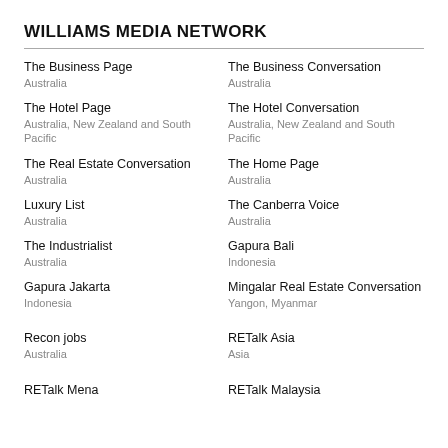WILLIAMS MEDIA NETWORK
The Business Page
Australia
The Business Conversation
Australia
The Hotel Page
Australia, New Zealand and South Pacific
The Hotel Conversation
Australia, New Zealand and South Pacific
The Real Estate Conversation
Australia
The Home Page
Australia
Luxury List
Australia
The Canberra Voice
Australia
The Industrialist
Australia
Gapura Bali
Indonesia
Gapura Jakarta
Indonesia
Mingalar Real Estate Conversation
Yangon, Myanmar
Recon jobs
Australia
RETalk Asia
Asia
RETalk Mena
RETalk Malaysia